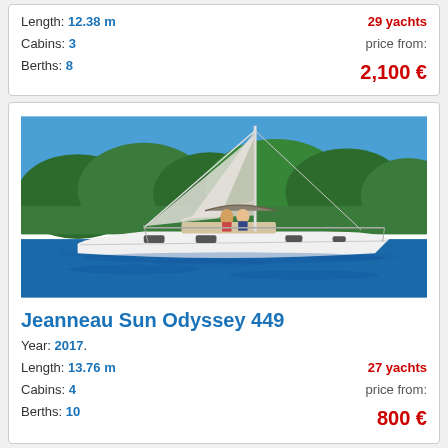Length: 12.38 m
Cabins: 3
Berths: 8
29 yachts
price from:
2,100 €
[Figure (photo): Jeanneau Sun Odyssey 449 sailboat on blue water with forested coastline in background, two people visible on deck]
Jeanneau Sun Odyssey 449
Year: 2017.
Length: 13.76 m
Cabins: 4
Berths: 10
27 yachts
price from:
800 €